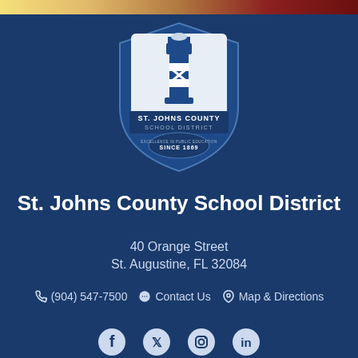[Figure (logo): St. Johns County School District shield logo with lighthouse, banner reading ST. JOHNS COUNTY SCHOOL DISTRICT, and text EXCELLENCE IN PUBLIC EDUCATION SINCE 1869]
St. Johns County School District
40 Orange Street
St. Augustine, FL 32084
(904) 547-7500   Contact Us   Map & Directions
[Figure (illustration): Social media icons: Facebook, Twitter, Instagram, LinkedIn]